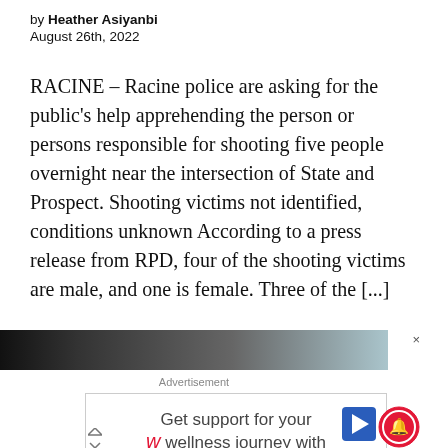by Heather Asiyanbi
August 26th, 2022
RACINE – Racine police are asking for the public's help apprehending the person or persons responsible for shooting five people overnight near the intersection of State and Prospect. Shooting victims not identified, conditions unknown According to a press release from RPD, four of the shooting victims are male, and one is female. Three of the [...]
[Figure (photo): Dark thumbnail image of outdoor scene, partially visible at top of advertisement section]
Advertisement
[Figure (other): Walgreens advertisement: Get support for your wellness journey with Nature Made]